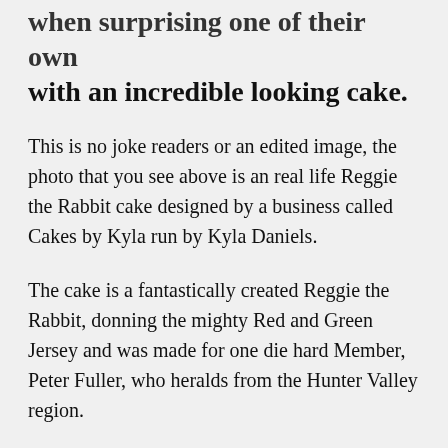when surprising one of their own with an incredible looking cake.
This is no joke readers or an edited image, the photo that you see above is an real life Reggie the Rabbit cake designed by a business called Cakes by Kyla run by Kyla Daniels.
The cake is a fantastically created Reggie the Rabbit, donning the mighty Red and Green Jersey and was made for one die hard Member, Peter Fuller, who heralds from the Hunter Valley region.
A Rabbitohs supporter for as long as he can